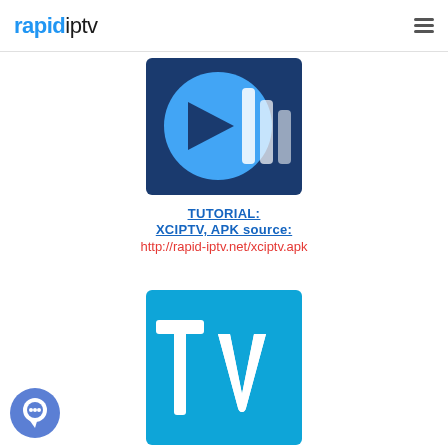rapidiptv
[Figure (logo): XCIPTV app logo: dark blue square background with a light blue circle containing a dark blue play triangle and three vertical light blue/white bars to the right]
TUTORIAL:
XCIPTV, APK source:
http://rapid-iptv.net/xciptv.apk
[Figure (logo): TV app logo: bright blue square background with large white lowercase letters 'tv' where the v has a checkmark style stroke]